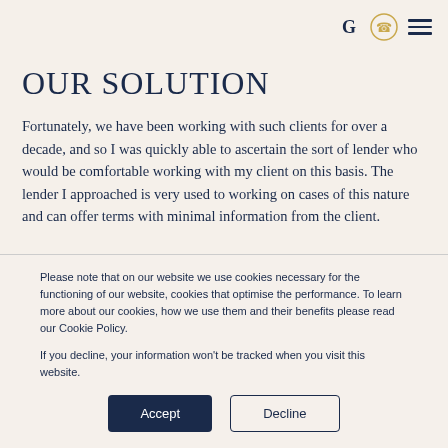G [phone icon] [menu icon]
OUR SOLUTION
Fortunately, we have been working with such clients for over a decade, and so I was quickly able to ascertain the sort of lender who would be comfortable working with my client on this basis. The lender I approached is very used to working on cases of this nature and can offer terms with minimal information from the client.
Please note that on our website we use cookies necessary for the functioning of our website, cookies that optimise the performance. To learn more about our cookies, how we use them and their benefits please read our Cookie Policy.

If you decline, your information won't be tracked when you visit this website.